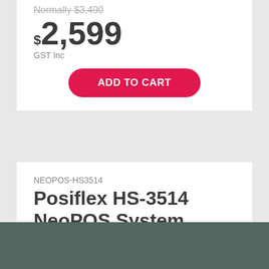Normally $3,490
$2,599
GST Inc
ADD TO CART
NEOPOS-HS3514
Posiflex HS-3514 NeoPOS System Bundle
Normally $3,849
$2,499
GST Inc
ADD TO CART